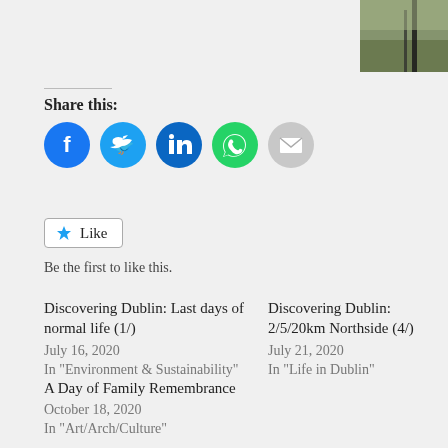[Figure (photo): Partial photo in top-right corner showing outdoor scene with dark vertical element (possibly a pole or stick) against grass background]
Share this:
[Figure (infographic): Row of social share buttons: Facebook (blue circle), Twitter (blue circle), LinkedIn (teal circle), WhatsApp (green circle), Email (grey circle)]
Like
Be the first to like this.
Discovering Dublin: Last days of normal life (1/)
July 16, 2020
In "Environment & Sustainability"
Discovering Dublin: 2/5/20km Northside (4/)
July 21, 2020
In "Life in Dublin"
A Day of Family Remembrance
October 18, 2020
In "Art/Arch/Culture"